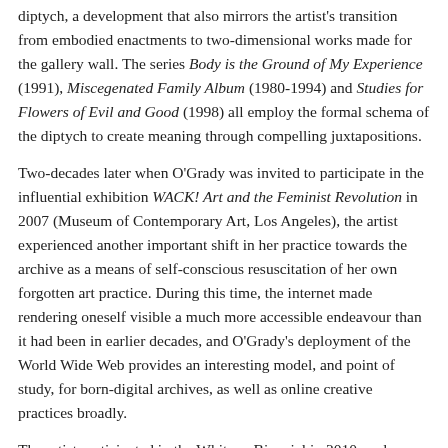diptych, a development that also mirrors the artist's transition from embodied enactments to two-dimensional works made for the gallery wall. The series Body is the Ground of My Experience (1991), Miscegenated Family Album (1980-1994) and Studies for Flowers of Evil and Good (1998) all employ the formal schema of the diptych to create meaning through compelling juxtapositions.
Two-decades later when O'Grady was invited to participate in the influential exhibition WACK! Art and the Feminist Revolution in 2007 (Museum of Contemporary Art, Los Angeles), the artist experienced another important shift in her practice towards the archive as a means of self-conscious resuscitation of her own forgotten art practice. During this time, the internet made rendering oneself visible a much more accessible endeavour than it had been in earlier decades, and O'Grady's deployment of the World Wide Web provides an interesting model, and point of study, for born-digital archives, as well as online creative practices broadly.
The artist participated in the Whitney Biennial in 2010, and a major retrospective of her work was exhibited at the Brooklyn